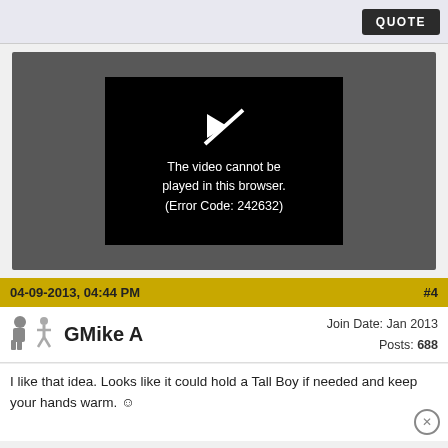QUOTE
[Figure (screenshot): Video player showing error: The video cannot be played in this browser. (Error Code: 242632)]
04-09-2013, 04:44 PM  #4
GMike A   Join Date: Jan 2013  Posts: 688
I like that idea. Looks like it could hold a Tall Boy if needed and keep your hands warm. :)